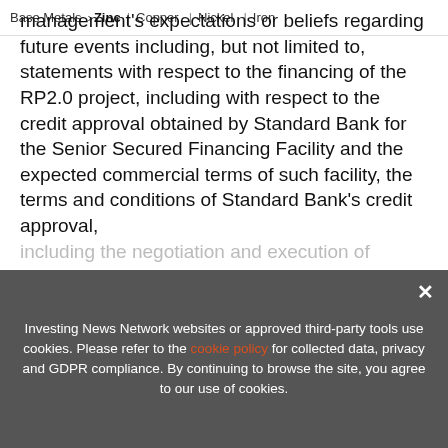Base Metals > Zinc | Copper | Nickel | Iron
management's expectations or beliefs regarding future events including, but not limited to, statements with respect to the financing of the RP2.0 project, including with respect to the credit approval obtained by Standard Bank for the Senior Secured Financing Facility and the expected commercial terms of such facility, the terms and conditions of Standard Bank's credit approval, including the negotiation and execution of defin... pote...
[Figure (screenshot): Promotional banner for 2022 Zinc Outlook Report with INN logo, red badge reading 'Updated Aug 12, 2022', title '2022 Zinc Outlook Report', subtitle 'TOP ZINC Stocks, Trends, Expert Forecasts', and a book cover image on the right]
Investing News Network websites or approved third-party tools use cookies. Please refer to the cookie policy for collected data, privacy and GDPR compliance. By continuing to browse the site, you agree to our use of cookies.